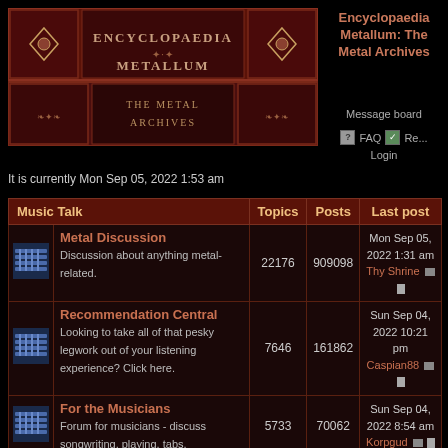[Figure (logo): Encyclopaedia Metallum: The Metal Archives banner/logo with ornate dark red and brown design]
Encyclopaedia Metallum: The Metal Archives
Message board
FAQ  Register  Login
It is currently Mon Sep 05, 2022 1:53 am
| Music Talk | Topics | Posts | Last post |
| --- | --- | --- | --- |
| Metal Discussion — Discussion about anything metal-related. | 22176 | 909098 | Mon Sep 05, 2022 1:31 am
Thy Shrine |
| Recommendation Central — Looking to take all of that pesky legwork out of your listening experience? Click here. | 7646 | 161862 | Sun Sep 04, 2022 10:21 pm
Caspian88 |
| For the Musicians — Forum for musicians - discuss songwriting, playing, tabs, | 5733 | 70062 | Sun Sep 04, 2022 8:54 am
Korpgud |